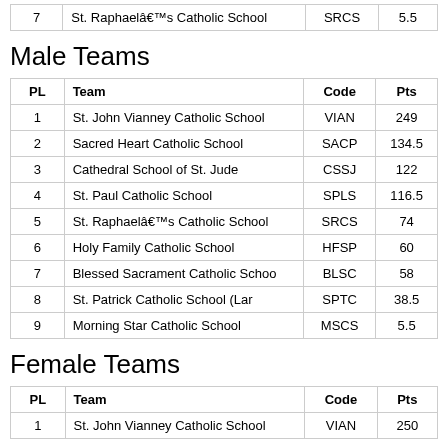|  |  | Code | Pts |
| --- | --- | --- | --- |
| 7 | St. Raphaelâ€™s Catholic School | SRCS | 5.5 |
Male Teams
| PL | Team | Code | Pts |
| --- | --- | --- | --- |
| 1 | St. John Vianney Catholic School | VIAN | 249 |
| 2 | Sacred Heart Catholic School | SACP | 134.5 |
| 3 | Cathedral School of St. Jude | CSSJ | 122 |
| 4 | St. Paul Catholic School | SPLS | 116.5 |
| 5 | St. Raphaelâ€™s Catholic School | SRCS | 74 |
| 6 | Holy Family Catholic School | HFSP | 60 |
| 7 | Blessed Sacrament Catholic Schoo | BLSC | 58 |
| 8 | St. Patrick Catholic School (Lar | SPTC | 38.5 |
| 9 | Morning Star Catholic School | MSCS | 5.5 |
Female Teams
| PL | Team | Code | Pts |
| --- | --- | --- | --- |
| 1 | St. John Vianney Catholic School | VIAN | 250 |